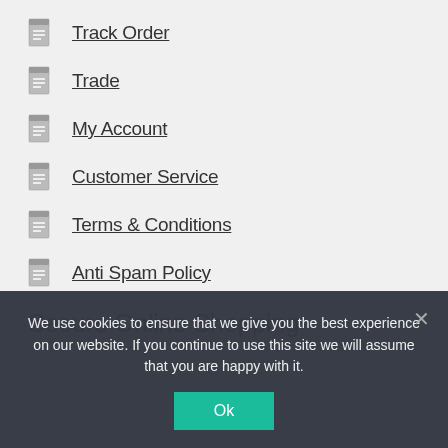Track Order
Trade
My Account
Customer Service
Terms & Conditions
Anti Spam Policy
Secure Online Shopping
We use cookies to ensure that we give you the best experience on our website. If you continue to use this site we will assume that you are happy with it.